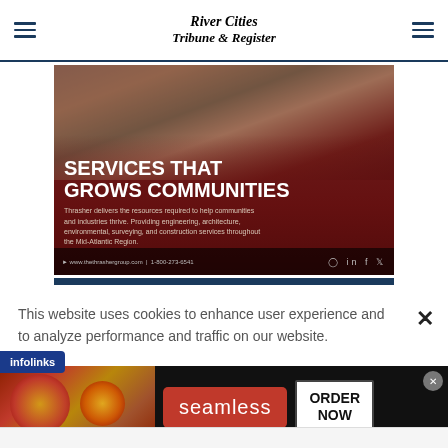River Cities Tribune & Register
[Figure (photo): Thrasher Group advertisement banner. Aerial photo of commercial buildings overlaid with dark red gradient. Large white bold text reads 'SERVICES THAT GROWS COMMUNITIES'. Body text: 'Thrasher delivers the resources required to help communities and industries thrive. Providing engineering, architecture, environmental, surveying, and construction services throughout the Mid-Atlantic Region.' Footer bar with URL www.thethra shergroup.com | 1-800-273-6541 and social media icons.]
This website uses cookies to enhance user experience and to analyze performance and traffic on our website.
[Figure (infographic): Seamless food delivery advertisement. Left side shows pizza image. Center has red rounded rectangle with 'seamless' text in white. Right side shows 'ORDER NOW' button in white box. Close button in top right corner.]